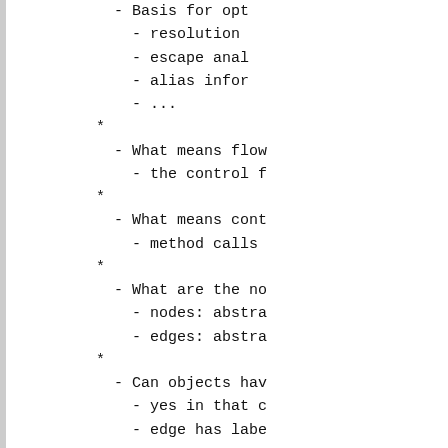- Basis for opt
- resolution
- escape anal
- alias infor
- ...
*
- What means flow
- the control f
*
- What means cont
- method calls
*
- What are the no
- nodes: abstra
- edges: abstra
*
- Can objects hav
- yes in that c
- edge has labe